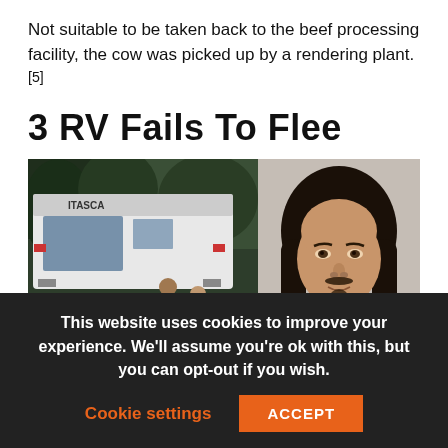Not suitable to be taken back to the beef processing facility, the cow was picked up by a rendering plant.[5]
3 RV Fails To Flee
[Figure (photo): Two adjacent photos: left shows an RV (Itasca brand) stopped with police vehicles and officers standing nearby during what appears to be a pursuit stop; right shows a mugshot of a Hispanic male with long dark hair, a goatee.]
This website uses cookies to improve your experience. We'll assume you're ok with this, but you can opt-out if you wish.
Cookie settings   ACCEPT